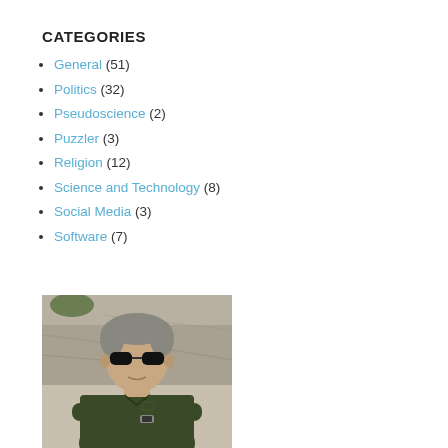CATEGORIES
General (51)
Politics (32)
Pseudoscience (2)
Puzzler (3)
Religion (12)
Science and Technology (8)
Social Media (3)
Software (7)
[Figure (photo): A middle-aged man wearing dark sunglasses and a dark olive/green polo shirt, arms crossed, standing in front of a rocky background outdoors.]